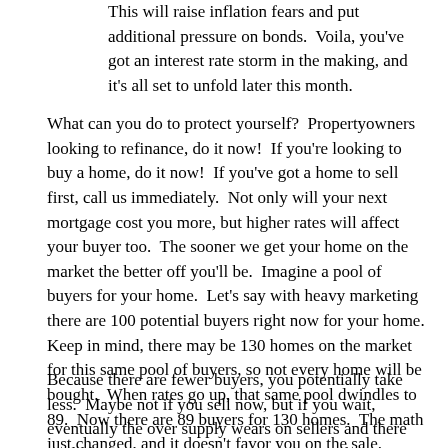This will raise inflation fears and put additional pressure on bonds.  Voila, you've got an interest rate storm in the making, and it's all set to unfold later this month.
What can you do to protect yourself?  Propertyowners looking to refinance, do it now!  If you're looking to buy a home, do it now!  If you've got a home to sell first, call us immediately.  Not only will your next mortgage cost you more, but higher rates will affect your buyer too.  The sooner we get your home on the market the better off you'll be.  Imagine a pool of buyers for your home.  Let's say with heavy marketing there are 100 potential buyers right now for your home.  Keep in mind, there may be 130 homes on the market for this same pool of buyers, so not every home will be bought.  When rates go up, that same pool dwindles to 89.  Now there are 89 buyers for 130 homes.  The math just changed, and it doesn't favor you on the sale.
Because there are fewer buyers, you potentially take less.  Maybe not if you sell now, but if you wait, eventually the over supply wears on sellers and there could be price corrections.  By waiting you have a lower down payment for the next home.  Your payment is higher because rates have gone up.  Through no fault of your own, waiting has cost you money on your sale, and a